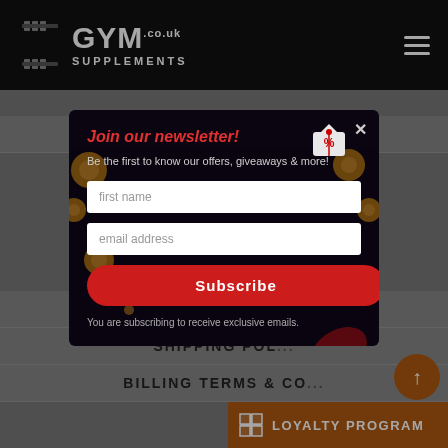I GYM SUPPLEMENTS .co.uk
+44 1494 520002
in...
[Figure (logo): VISA logo and payment method icons]
[Figure (screenshot): Newsletter popup modal with dark background, decorative gold/red ribbons, gift tag icon, title 'Join our newsletter!', subtitle 'Be the first to know our offers, giveaways & more!', first name input, email address input, red Subscribe button, disclaimer text 'You are subscribing to receive exclusive emails.']
ABOUT US
PRIVACY POLICY
SHIPPING POL...
BILLING TERMS & CO...
LOYALTY PROGRAM